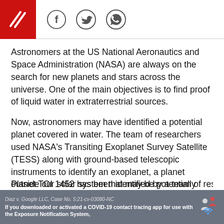[Figure (logo): Red rectangle logo with diagonal lines (newspaper/media brand logo)]
[Figure (other): Social media icons: Facebook, Twitter, WhatsApp in circular outlines]
Astronomers at the US National Aeronautics and Space Administration (NASA) are always on the search for new planets and stars across the universe. One of the main objectives is to find proof of liquid water in extraterrestrial sources.
Now, astronomers may have identified a potential planet covered in water. The team of researchers used NASA's Transiting Exoplanet Survey Satellite (TESS) along with ground-based telescopic instruments to identify an exoplanet, a planet outside our solar system that may be potentially rocky like Earth but might be covered in massive oceans.
Planet TOI 1452 has been identified by a team of researchers...
Diaz v. Google LLC, Case No. 5:21-cv-03080-NC
If you downloaded or activated a COVID-19 contact tracing app for use with the Exposure Notification System,